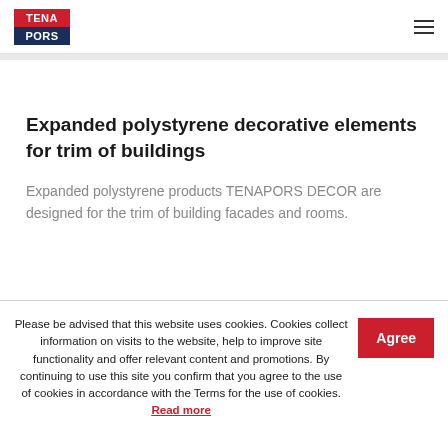TENAPORS
Expanded polystyrene decorative elements for trim of buildings
Expanded polystyrene products TENAPORS DECOR are designed for the trim of building facades and rooms.
Please be advised that this website uses cookies. Cookies collect information on visits to the website, help to improve site functionality and offer relevant content and promotions. By continuing to use this site you confirm that you agree to the use of cookies in accordance with the Terms for the use of cookies. Read more